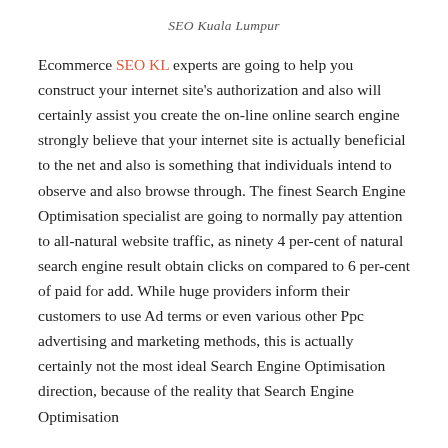SEO Kuala Lumpur
Ecommerce SEO KL experts are going to help you construct your internet site's authorization and also will certainly assist you create the on-line online search engine strongly believe that your internet site is actually beneficial to the net and also is something that individuals intend to observe and also browse through. The finest Search Engine Optimisation specialist are going to normally pay attention to all-natural website traffic, as ninety 4 per-cent of natural search engine result obtain clicks on compared to 6 per-cent of paid for add. While huge providers inform their customers to use Ad terms or even various other Ppc advertising and marketing methods, this is actually certainly not the most ideal Search Engine Optimisation direction, because of the reality that Search Engine Optimisation